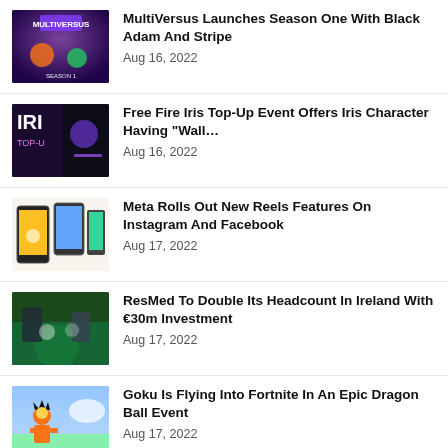MultiVersus Launches Season One With Black Adam And Stripe
Aug 16, 2022
Free Fire Iris Top-Up Event Offers Iris Character Having “Wall…
Aug 16, 2022
Meta Rolls Out New Reels Features On Instagram And Facebook
Aug 17, 2022
ResMed To Double Its Headcount In Ireland With €30m Investment
Aug 17, 2022
Goku Is Flying Into Fortnite In An Epic Dragon Ball Event
Aug 17, 2022